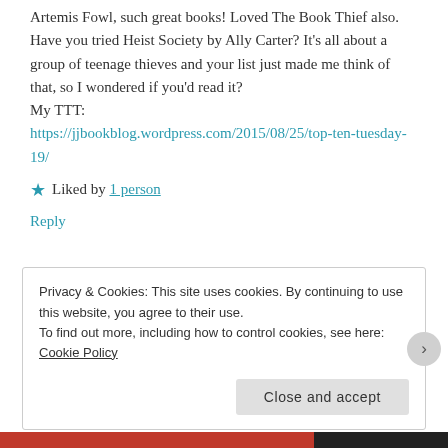Artemis Fowl, such great books! Loved The Book Thief also. Have you tried Heist Society by Ally Carter? It's all about a group of teenage thieves and your list just made me think of that, so I wondered if you'd read it?
My TTT:
https://jjbookblog.wordpress.com/2015/08/25/top-ten-tuesday-19/
Liked by 1 person
Reply
Privacy & Cookies: This site uses cookies. By continuing to use this website, you agree to their use. To find out more, including how to control cookies, see here: Cookie Policy